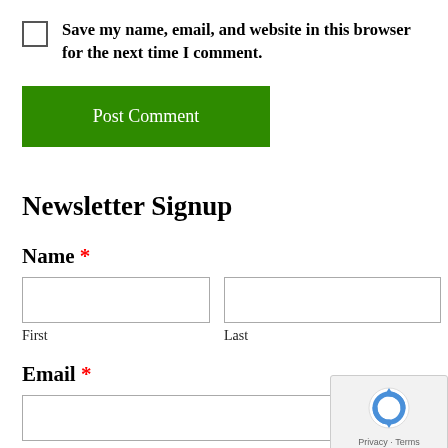Save my name, email, and website in this browser for the next time I comment.
Post Comment
Newsletter Signup
Name *
First
Last
Email *